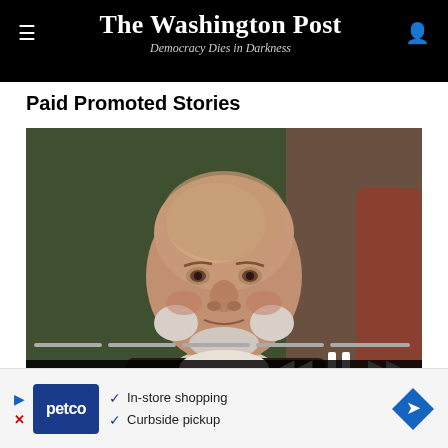The Washington Post — Democracy Dies in Darkness
Paid Promoted Stories
[Figure (photo): Portrait painting of an older bald man wearing dark jacket and white cravat, likely a historical US president. Media player controls visible at bottom with progress bar segments. Caption overlay reads '[Quiz] We Will Guess Your Education Level In']
[Quiz] We Will Guess Your Education Level In
[Figure (infographic): Petco advertisement banner: In-store shopping, Curbside pickup checkmarks with petco logo and directional arrow]